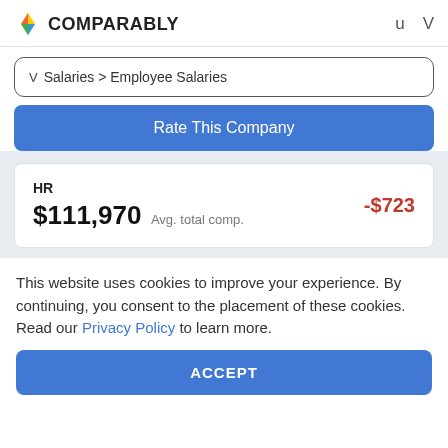COMPARABLY
V  Salaries > Employee Salaries
Rate This Company
HR
$111,970 Avg. total comp.
-$723
This website uses cookies to improve your experience. By continuing, you consent to the placement of these cookies. Read our Privacy Policy to learn more.
ACCEPT